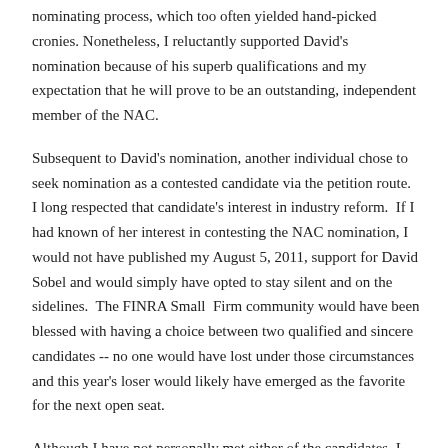nominating process, which too often yielded hand-picked cronies. Nonetheless, I reluctantly supported David's nomination because of his superb qualifications and my expectation that he will prove to be an outstanding, independent member of the NAC.
Subsequent to David's nomination, another individual chose to seek nomination as a contested candidate via the petition route.  I long respected that candidate's interest in industry reform.  If I had known of her interest in contesting the NAC nomination, I would not have published my August 5, 2011, support for David Sobel and would simply have opted to stay silent and on the sidelines.  The FINRA Small  Firm community would have been blessed with having a choice between two qualified and sincere candidates -- no one would have lost under those circumstances and this year's loser would likely have emerged as the favorite for the next open seat.
Although I have not personally met either of the candidates, I have maintained active email communications with them over the years, had numerous telephone conversations with each, and know them both to be sincere reformers who truly care about the causes that they advocate.